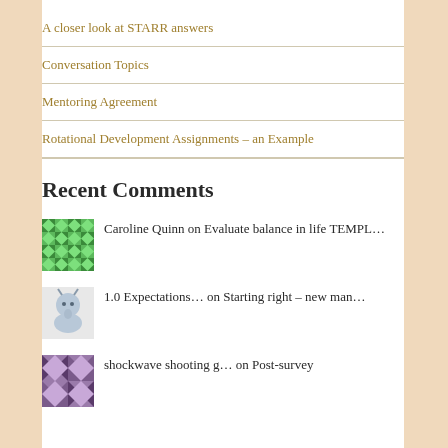A closer look at STARR answers
Conversation Topics
Mentoring Agreement
Rotational Development Assignments – an Example
Recent Comments
Caroline Quinn on Evaluate balance in life TEMPL…
1.0 Expectations… on Starting right – new man…
shockwave shooting g… on Post-survey